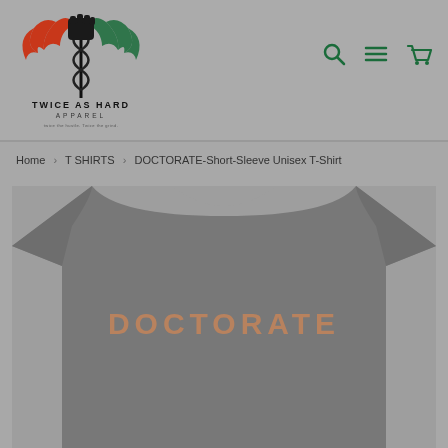[Figure (logo): Twice As Hard Apparel logo — a caduceus with a black raised fist, red and green wings, with text 'TWICE AS HARD APPAREL' below]
[Figure (other): Navigation icons: search (magnifying glass), menu (hamburger), cart (shopping cart) in dark green]
Home > T SHIRTS > DOCTORATE-Short-Sleeve Unisex T-Shirt
[Figure (photo): Gray t-shirt shown from the back with the word 'DOCTORATE' printed in muted orange/terracotta letters across the chest area]